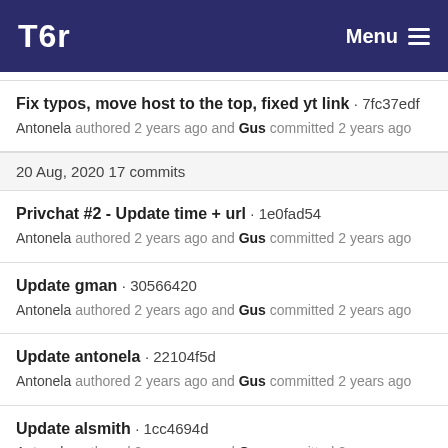Tor — Menu
Fix typos, move host to the top, fixed yt link · 7fc37edf
Antonela authored 2 years ago and Gus committed 2 years ago
20 Aug, 2020 17 commits
Privchat #2 - Update time + url · 1e0fad54
Antonela authored 2 years ago and Gus committed 2 years ago
Update gman · 30566420
Antonela authored 2 years ago and Gus committed 2 years ago
Update antonela · 22104f5d
Antonela authored 2 years ago and Gus committed 2 years ago
Update alsmith · 1cc4694d
Antonela authored 2 years ago and Gus committed 2 years ago
Update gman · e0ec115b
Antonela authored 2 years ago and Gus committed 2 years ago